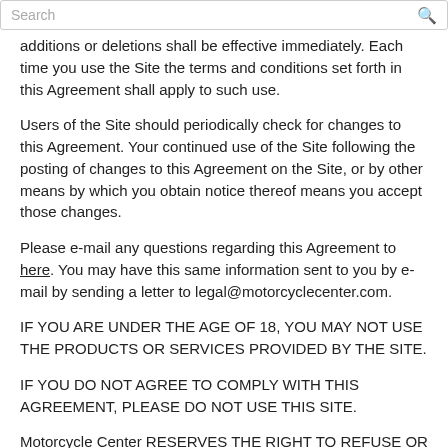Search
additions or deletions shall be effective immediately. Each time you use the Site the terms and conditions set forth in this Agreement shall apply to such use.
Users of the Site should periodically check for changes to this Agreement. Your continued use of the Site following the posting of changes to this Agreement on the Site, or by other means by which you obtain notice thereof means you accept those changes.
Please e-mail any questions regarding this Agreement to here. You may have this same information sent to you by e-mail by sending a letter to legal@motorcyclecenter.com.
IF YOU ARE UNDER THE AGE OF 18, YOU MAY NOT USE THE PRODUCTS OR SERVICES PROVIDED BY THE SITE.
IF YOU DO NOT AGREE TO COMPLY WITH THIS AGREEMENT, PLEASE DO NOT USE THIS SITE.
Motorcycle Center RESERVES THE RIGHT TO REFUSE OR REVOKE